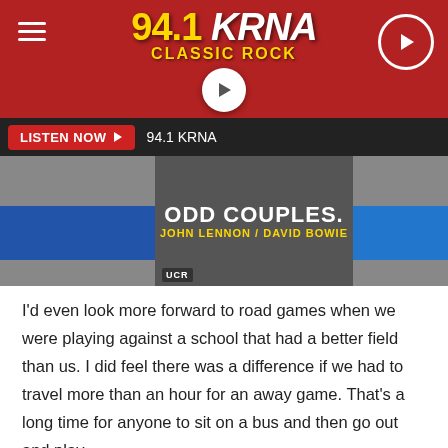[Figure (screenshot): 94.1 KRNA Classic Rock radio station app header with red banner, station logo, play button, hamburger menu, listen now bar, and an image strip showing 'Odd Couples: John Lennon / David Bowie' text with UCR badge]
I'd even look more forward to road games when we were playing against a school that had a better field than us. I did feel there was a difference if we had to travel more than an hour for an away game. That's a long time for anyone to sit on a bus and then go out and play.
I will say, I've never had to experience traveling for a home game. They've been doing that for a long time at Mount Vernon and it only seems time for them to have a complex